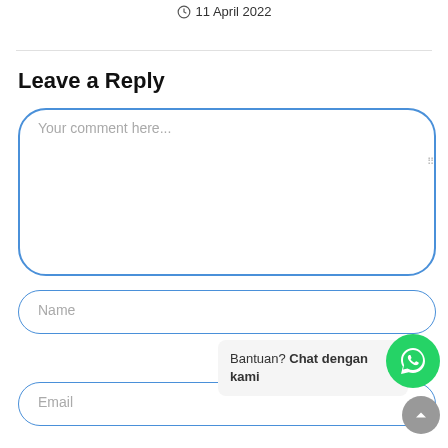11 April 2022
Leave a Reply
Your comment here...
Name
Email
Bantuan? Chat dengan kami